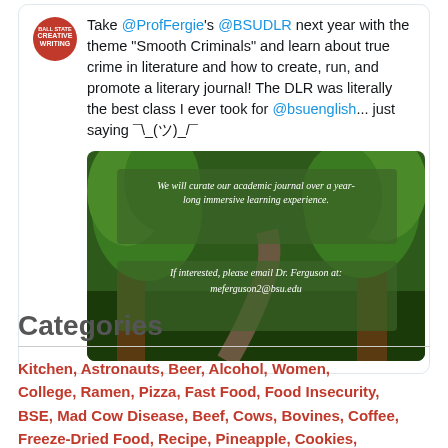Take @ProfFergie's @BSUDLR next year with the theme "Smooth Criminals" and learn about true crime in literature and how to create, run, and promote a literary journal! The DLR was literally the best class I ever took for @bsuenglish... just saying ¯\_(ツ)_/¯
[Figure (illustration): Green forest/trees illustration with overlaid text: 'We will curate our academic journal over a year-long immersive learning experience. If interested, please email Dr. Ferguson at: meferguson2@bsu.edu']
Categories
Kitchen, Astronauts, Beer, Alcohol, Women, College, Ramen, Pizza, Fast Food, Food Insecurity, BSE, Mad Cow Disease, Beef, Cows, Bovines, Coffee, Freeze-Dried Food, Recipe, Pineapple, Cookies,